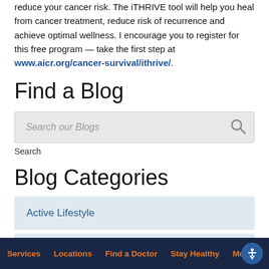reduce your cancer risk. The iTHRIVE tool will help you heal from cancer treatment, reduce risk of recurrence and achieve optimal wellness. I encourage you to register for this free program — take the first step at www.aicr.org/cancer-survival/ithrive/.
Find a Blog
Search our Blogs
Search
Blog Categories
Active Lifestyle
Cancer Healthy
Services   Locations   Find a Doctor   Stay Healthy   More